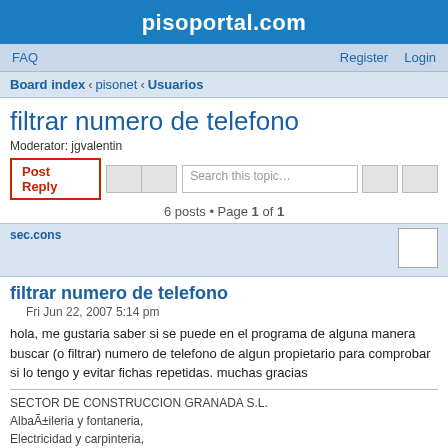pisoportal.com
FAQ    Register    Login
Board index ‹ pisonet ‹ Usuarios
filtrar numero de telefono
Moderator: jgvalentin
6 posts • Page 1 of 1
sec.cons
filtrar numero de telefono
Fri Jun 22, 2007 5:14 pm
hola, me gustaria saber si se puede en el programa de alguna manera buscar (o filtrar) numero de telefono de algun propietario para comprobar si lo tengo y evitar fichas repetidas. muchas gracias
SECTOR DE CONSTRUCCION GRANADA S.L.
AlbaÃ±ileria y fontaneria,
Electricidad y carpinteria,